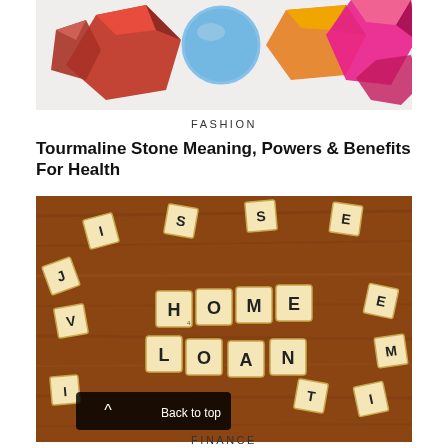[Figure (photo): Colorful gemstones including red, blue, and pink decorative crystals on a white background]
FASHION
Tourmaline Stone Meaning, Powers & Benefits For Health
[Figure (photo): Scrabble tiles spelling HOME, LOAN on a wooden table surface]
FINANCE